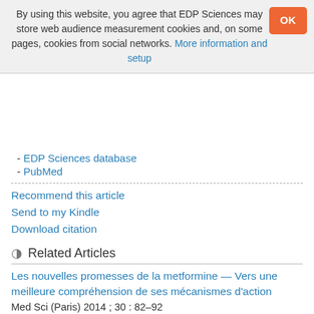By using this website, you agree that EDP Sciences may store web audience measurement cookies and, on some pages, cookies from social networks. More information and setup
- EDP Sciences database
- PubMed
Recommend this article
Send to my Kindle
Download citation
Related Articles
Les nouvelles promesses de la metformine — Vers une meilleure compréhension de ses mécanismes d'action
Med Sci (Paris) 2014 ; 30 : 82–92
Du cancer au traitement du diabète — Le suppresseur de tumeur LKB1 comme nouvelle cible pharmacologique